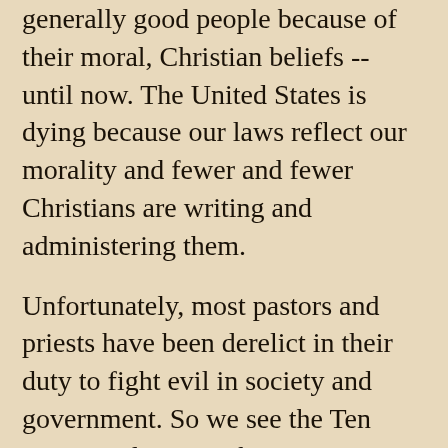generally good people because of their moral, Christian beliefs -- until now.  The United States is dying because our laws reflect our morality and fewer and fewer Christians are writing and administering them.
Unfortunately, most pastors and priests have been derelict in their duty to fight evil in society and government.  So we see the Ten Commandments, Christian crosses, prayer, Christmas trees and creches being stripped from us for the most trivial reasons. Worse, we see rampant corruption at all levels of government. That must stop. Nehemiah 4:14.
If your pastor or priest focuses only on